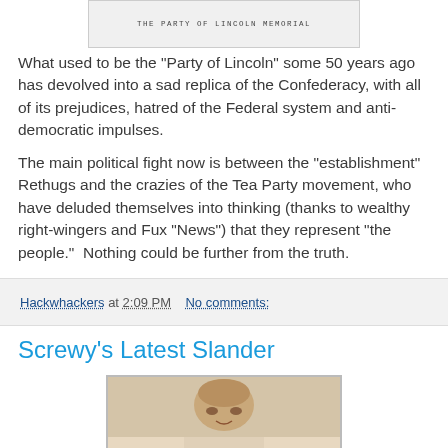[Figure (photo): Partial image at top showing 'THE PARTY OF LINCOLN MEMORIAL' caption text]
What used to be the "Party of Lincoln" some 50 years ago has devolved into a sad replica of the Confederacy, with all of its prejudices, hatred of the Federal system and anti-democratic impulses.
The main political fight now is between the "establishment" Rethugs and the crazies of the Tea Party movement, who have deluded themselves into thinking (thanks to wealthy right-wingers and Fux "News") that they represent "the people."  Nothing could be further from the truth.
Hackwhackers at 2:09 PM   No comments:
Screwy's Latest Slander
[Figure (photo): Photo of a bald man, partially visible, appearing to be in a formal or official setting]